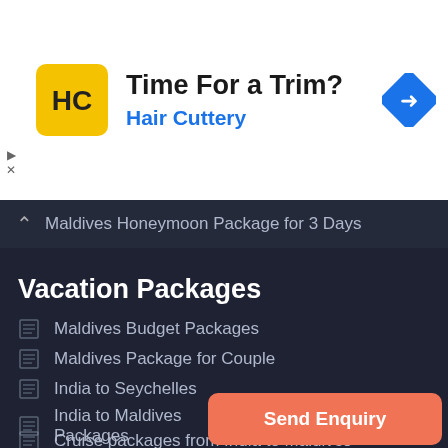[Figure (illustration): Hair Cuttery advertisement banner with yellow logo showing 'HC' letters, text 'Time For a Trim?' in bold, and 'Hair Cuttery' in blue, with a blue diamond navigation icon on the right]
Maldives Honeymoon Package for 3 Days
Vacation Packages
Maldives Budget Packages
Maldives Package for Couple
India to Seychelles
India to Maldives Packages
Cruise packages from India to Maldives
Send Enquiry